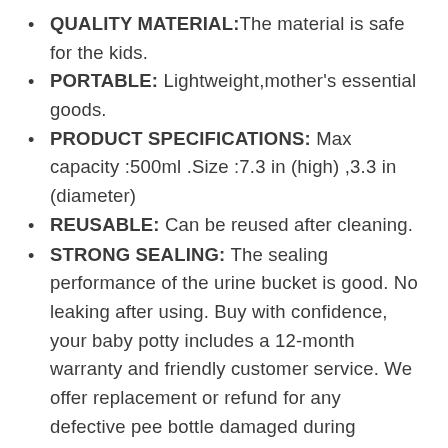QUALITY MATERIAL:The material is safe for the kids.
PORTABLE: Lightweight,mother's essential goods.
PRODUCT SPECIFICATIONS: Max capacity :500ml .Size :7.3 in (high) ,3.3 in (diameter)
REUSABLE: Can be reused after cleaning.
STRONG SEALING: The sealing performance of the urine bucket is good. No leaking after using. Buy with confidence, your baby potty includes a 12-month warranty and friendly customer service. We offer replacement or refund for any defective pee bottle damaged during